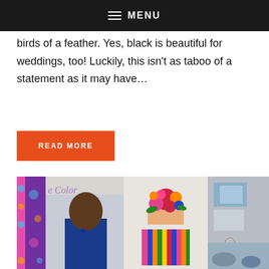MENU
birds of a feather. Yes, black is beautiful for weddings, too! Luckily, this isn't as taboo of a statement as it may have...
READ MORE
[Figure (photo): A collage-style wedding inspiration image featuring a groom in a blue suit, colorful floral arrangements, striped cake, and accessories, with cursive text 'Color' overlaid in purple.]